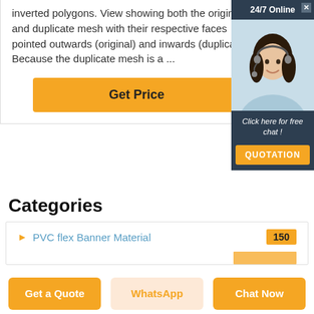inverted polygons. View showing both the original and duplicate mesh with their respective faces pointed outwards (original) and inwards (duplicate) Because the duplicate mesh is a ...
[Figure (other): Orange 'Get Price' button]
[Figure (other): Advertisement box with 24/7 Online chat support, photo of a woman with headset, 'Click here for free chat!' text and QUOTATION button]
Categories
PVC flex Banner Material  150
[Figure (other): Orange bar partially visible at bottom of categories]
Get a Quote  WhatsApp  Chat Now